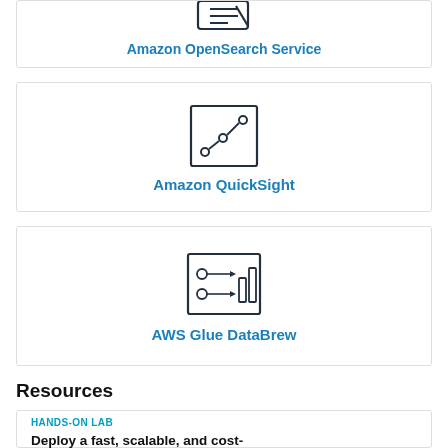[Figure (logo): Amazon OpenSearch Service icon (partial, top cropped)]
Amazon OpenSearch Service
[Figure (logo): Amazon QuickSight icon - line chart scatter plot in a square]
Amazon QuickSight
[Figure (logo): AWS Glue DataBrew icon - data transformation diagram in a square]
AWS Glue DataBrew
Resources
HANDS-ON LAB
Deploy a fast, scalable, and cost-